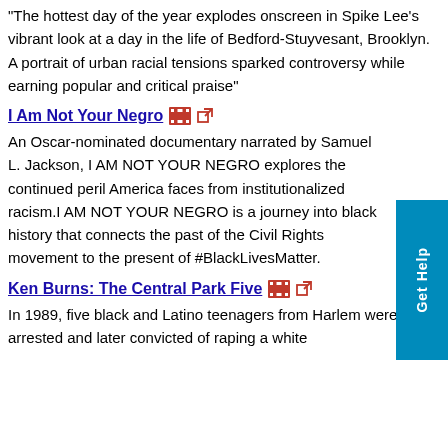"The hottest day of the year explodes onscreen in Spike Lee's vibrant look at a day in the life of Bedford-Stuyvesant, Brooklyn. A portrait of urban racial tensions sparked controversy while earning popular and critical praise"
I Am Not Your Negro
An Oscar-nominated documentary narrated by Samuel L. Jackson, I AM NOT YOUR NEGRO explores the continued peril America faces from institutionalized racism.I AM NOT YOUR NEGRO is a journey into black history that connects the past of the Civil Rights movement to the present of #BlackLivesMatter.
Ken Burns: The Central Park Five
In 1989, five black and Latino teenagers from Harlem were arrested and later convicted of raping a white